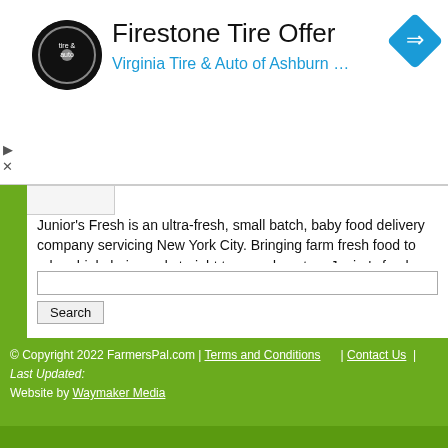[Figure (logo): Firestone Tire Offer advertisement banner with Virginia Tire & Auto of Ashburn logo (circular black background with tire & auto text), ad title 'Firestone Tire Offer', subtitle 'Virginia Tire & Auto of Ashburn ...', blue diamond navigation icon on right, and small ad controls (triangle and X) on left]
Junior's Fresh is an ultra-fresh, small batch, baby food delivery company servicing New York City. Bringing farm fresh food to urban highchairs and straight to your doorstep. Junior's fresh provides organic food sourced locally for beginning eaters up to toddlers.
Categories: Products; Food & Drink; Delivery; Baby Food
Region: New York County
www.juniorsfresh.com/
© Copyright 2022 FarmersPal.com | Terms and Conditions | Contact Us | Last Updated: Website by Waymaker Media